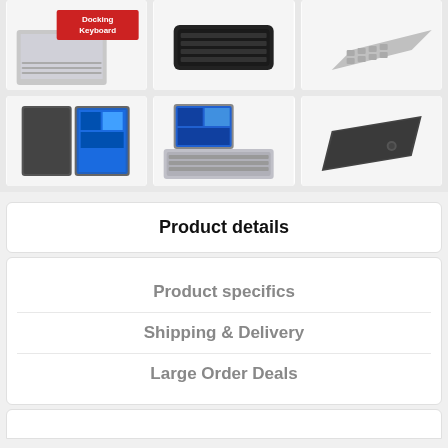[Figure (screenshot): Product image gallery showing 6 product thumbnails in a 3x2 grid: top-left laptop with docking keyboard label, top-center keyboard accessory, top-right keyboard close-up, bottom-left tablet with Windows display, bottom-center tablet with keyboard dock, bottom-right dark tablet case]
Product details
Product specifics
Shipping & Delivery
Large Order Deals